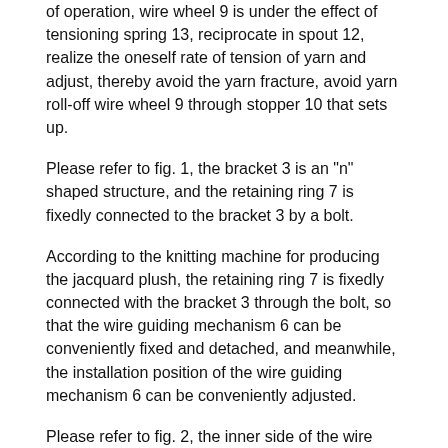of operation, wire wheel 9 is under the effect of tensioning spring 13, reciprocate in spout 12, realize the oneself rate of tension of yarn and adjust, thereby avoid the yarn fracture, avoid yarn roll-off wire wheel 9 through stopper 10 that sets up.
Please refer to fig. 1, the bracket 3 is an "n" shaped structure, and the retaining ring 7 is fixedly connected to the bracket 3 by a bolt.
According to the knitting machine for producing the jacquard plush, the retaining ring 7 is fixedly connected with the bracket 3 through the bolt, so that the wire guiding mechanism 6 can be conveniently fixed and detached, and meanwhile, the installation position of the wire guiding mechanism 6 can be conveniently adjusted.
Please refer to fig. 2, the inner side of the wire guiding wheel 9 is provided with a connecting rod 11, the wire guiding wheel 9 is movably connected with the connecting rod 11 through a bearing, both ends of the connecting rod 11 are provided with sliding blocks matched with the sliding groove 12, the sliding blocks are connected with the tension spring 13, the middle position of the wire guiding